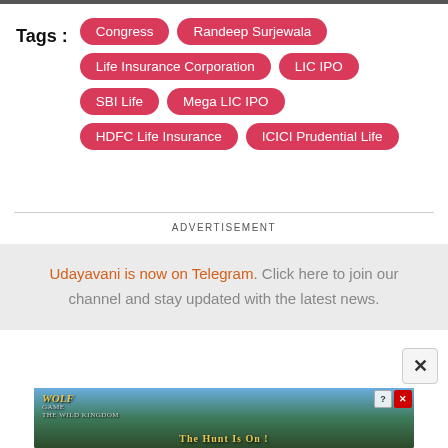Tags : Congress  Randeep Surjewala  Life Insurance Corporation  LIC IPO  SBI Life  Mega LIC IPO  HDFC Life Insurance  ICICI Prudential Life
ADVERTISEMENT
Udayavani is now on Telegram. Click here to join our channel and stay updated with the latest news.
[Figure (photo): Wolf Game: The Wild Kingdom advertisement showing wolves in a forest with text 'The Hunt Is On!']